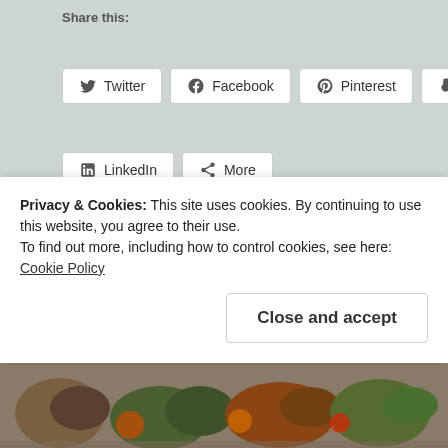Share this:
Twitter
Facebook
Pinterest
Tumblr
LinkedIn
More
Loading...
Fiery Witches' Cauldrons... Serve up a creepy low-carb scare this
Privacy & Cookies: This site uses cookies. By continuing to use this website, you agree to their use.
To find out more, including how to control cookies, see here: Cookie Policy
Close and accept
[Figure (photo): Food photograph showing Halloween-themed low-carb dishes at the bottom of the page]